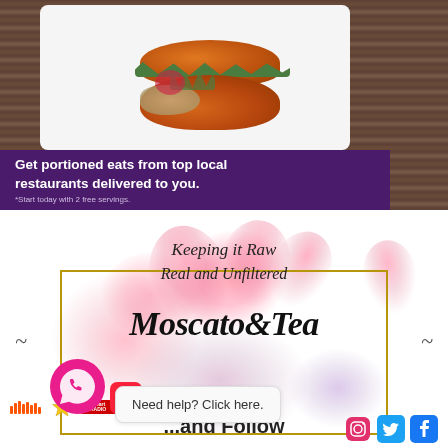[Figure (photo): Advertisement banner showing a sandwich/burger on a white plate against a wood background, with purple text block below reading 'Get portioned eats from top local restaurants delivered to you. *Start today with 2 free servings.']
[Figure (illustration): Moscato & Tea brand logo/graphic with text 'Keeping it Raw Real and Unfiltered' and 'Moscato & Tea' in decorative script, pink watercolor splash background, gold rectangular frame, social media icons (Instagram, Twitter, Facebook), WhatsApp button, iHeart Radio logo, Apple Music logo, and text '...and Follow']
Need help? Click here.